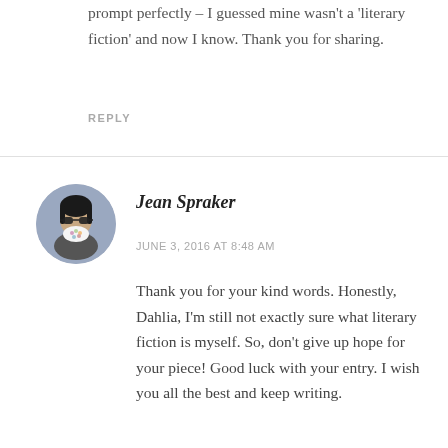prompt perfectly – I guessed mine wasn't a 'literary fiction' and now I know. Thank you for sharing.
REPLY
[Figure (photo): Circular avatar photo of Jean Spraker, a person wearing sunglasses and a floral face covering, with a light purple/blue background]
Jean Spraker
JUNE 3, 2016 AT 8:48 AM
Thank you for your kind words. Honestly, Dahlia, I'm still not exactly sure what literary fiction is myself. So, don't give up hope for your piece! Good luck with your entry. I wish you all the best and keep writing.